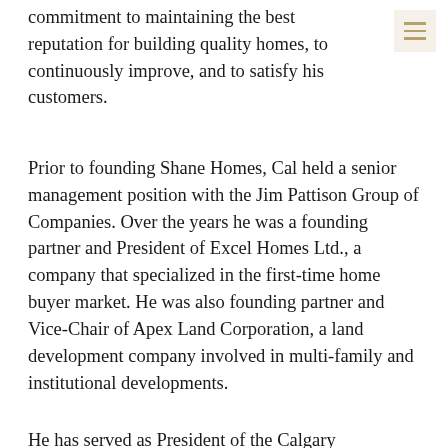commitment to maintaining the best reputation for building quality homes, to continuously improve, and to satisfy his customers.
Prior to founding Shane Homes, Cal held a senior management position with the Jim Pattison Group of Companies. Over the years he was a founding partner and President of Excel Homes Ltd., a company that specialized in the first-time home buyer market. He was also founding partner and Vice-Chair of Apex Land Corporation, a land development company involved in multi-family and institutional developments.
He has served as President of the Calgary